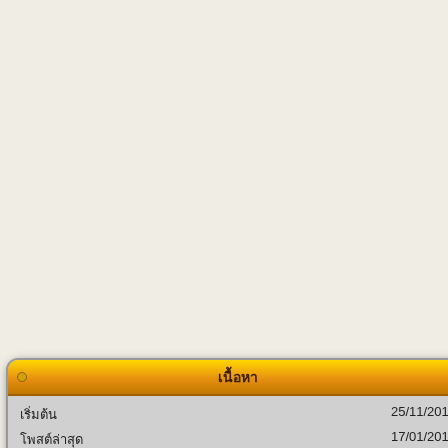[Figure (screenshot): Widget box with orange gradient header showing Thai script title, and gray body with Thai script labels and values: 25/11/2013, 17/01/2018, 533,874, 693,188]
is cbd oil bad for your liver
will cbd oil help me sleep
ทางเข้า w88 เว็บไซต์บอลออนไลน์อันดับ 1
2020
Osteots
AgentLotto.Org COVID-19!